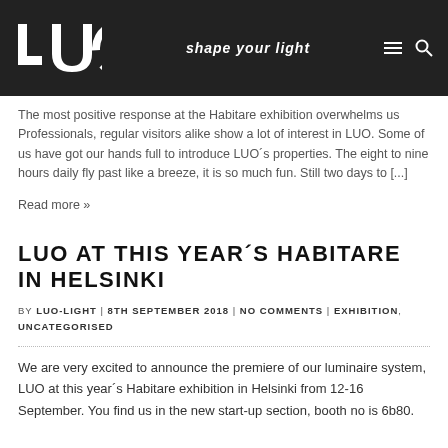LUO – shape your light
The most positive response at the Habitare exhibition overwhelms us Professionals, regular visitors alike show a lot of interest in LUO. Some of us have got our hands full to introduce LUO's properties. The eight to nine hours daily fly past like a breeze, it is so much fun. Still two days to [...]
Read more »
LUO AT THIS YEAR´S HABITARE IN HELSINKI
BY LUO-LIGHT | 8TH SEPTEMBER 2018 | NO COMMENTS | EXHIBITION, UNCATEGORISED
We are very excited to announce the premiere of our luminaire system, LUO at this year´s Habitare exhibition in Helsinki from 12-16 September. You find us in the new start-up section, booth no is 6b80.